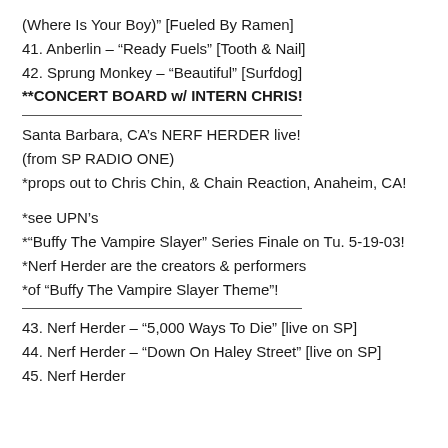(Where Is Your Boy)" [Fueled By Ramen]
41. Anberlin – "Ready Fuels" [Tooth & Nail]
42. Sprung Monkey – "Beautiful" [Surfdog]
**CONCERT BOARD w/ INTERN CHRIS!
Santa Barbara, CA's NERF HERDER live!
(from SP RADIO ONE)
*props out to Chris Chin, & Chain Reaction, Anaheim, CA!
*see UPN's
*"Buffy The Vampire Slayer" Series Finale on Tu. 5-19-03!
*Nerf Herder are the creators & performers
*of "Buffy The Vampire Slayer Theme"!
43. Nerf Herder – "5,000 Ways To Die" [live on SP]
44. Nerf Herder – "Down On Haley Street" [live on SP]
45. Nerf Herder